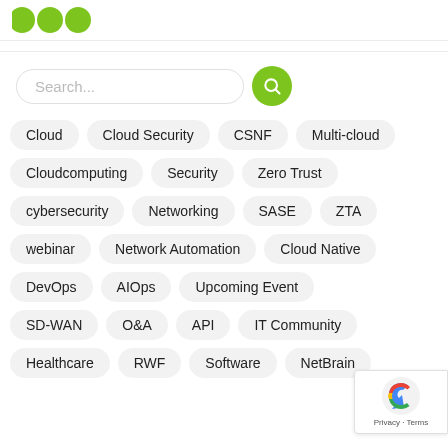[Figure (logo): Partial green logo circles at top left]
Search...
Cloud
Cloud Security
CSNF
Multi-cloud
Cloudcomputing
Security
Zero Trust
cybersecurity
Networking
SASE
ZTA
webinar
Network Automation
Cloud Native
DevOps
AIOps
Upcoming Event
SD-WAN
O&A
API
IT Community
Healthcare
RWF
Software
NetBrain